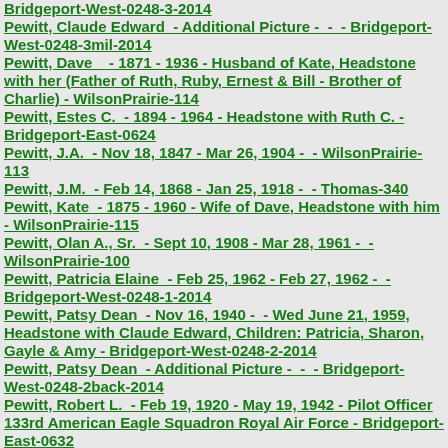Bridgeport-West-0248-3-2014
Pewitt, Claude Edward  - Additional Picture -  -  - Bridgeport-West-0248-3mil-2014
Pewitt, Dave   - 1871 - 1936 - Husband of Kate, Headstone with her (Father of Ruth, Ruby, Ernest & Bill - Brother of Charlie) - WilsonPrairie-114
Pewitt, Estes C.  - 1894 - 1964 - Headstone with Ruth C. - Bridgeport-East-0624
Pewitt, J.A.  - Nov 18, 1847 - Mar 26, 1904 -  - WilsonPrairie-113
Pewitt, J.M.  - Feb 14, 1868 - Jan 25, 1918 -  - Thomas-340
Pewitt, Kate  - 1875 - 1960 - Wife of Dave, Headstone with him - WilsonPrairie-115
Pewitt, Olan A., Sr.  - Sept 10, 1908 - Mar 28, 1961 -  - WilsonPrairie-100
Pewitt, Patricia Elaine  - Feb 25, 1962 - Feb 27, 1962 -  - Bridgeport-West-0248-1-2014
Pewitt, Patsy Dean  - Nov 16, 1940 -  - Wed June 21, 1959, Headstone with Claude Edward, Children: Patricia, Sharon, Gayle & Amy - Bridgeport-West-0248-2-2014
Pewitt, Patsy Dean  - Additional Picture -  - Bridgeport-West-0248-2back-2014
Pewitt, Robert L.  - Feb 19, 1920 - May 19, 1942 - Pilot Officer 133rd American Eagle Squadron Royal Air Force - Bridgeport-East-0632